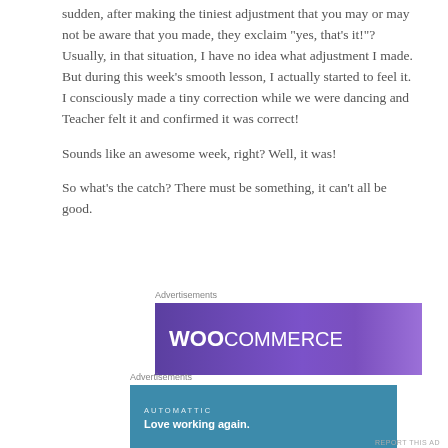sudden, after making the tiniest adjustment that you may or may not be aware that you made, they exclaim “yes, that’s it!”? Usually, in that situation, I have no idea what adjustment I made. But during this week’s smooth lesson, I actually started to feel it. I consciously made a tiny correction while we were dancing and Teacher felt it and confirmed it was correct!
Sounds like an awesome week, right? Well, it was!
So what’s the catch? There must be something, it can’t all be good.
Advertisements
[Figure (other): WooCommerce advertisement banner with purple gradient background]
Advertisements
[Figure (other): Automattic 'Love working again.' advertisement banner with teal background]